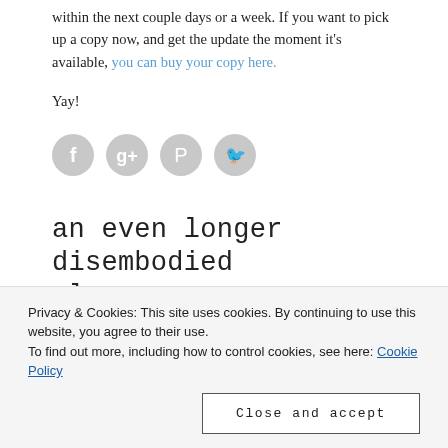within the next couple days or a week. If you want to pick up a copy now, and get the update the moment it's available, you can buy your copy here.
Yay!
[Figure (other): Four social media share icon buttons (Facebook, Google+, Pinterest, Twitter) as grey circles]
an even longer disembodied sleeve
Privacy & Cookies: This site uses cookies. By continuing to use this website, you agree to their use.
To find out more, including how to control cookies, see here: Cookie Policy
Close and accept